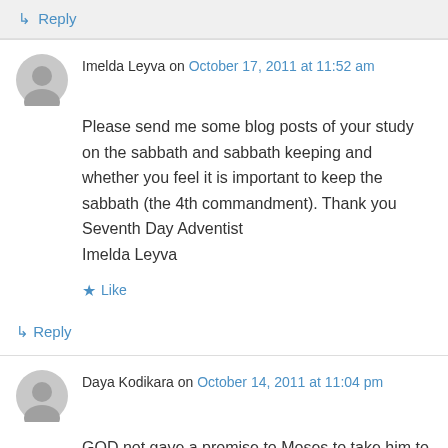↳ Reply
Imelda Leyva on October 17, 2011 at 11:52 am
Please send me some blog posts of your study on the sabbath and sabbath keeping and whether you feel it is important to keep the sabbath (the 4th commandment). Thank you Seventh Day Adventist
Imelda Leyva
★ Like
↳ Reply
Daya Kodikara on October 14, 2011 at 11:04 pm
GOD not gave a promise to Moses to take him to